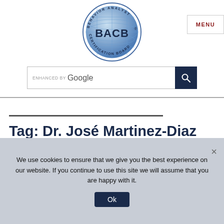[Figure (logo): BACB Behavior Analyst Certification Board circular globe logo]
MENU
ENHANCED BY Google
Tag: Dr. José Martinez-Diaz
We use cookies to ensure that we give you the best experience on our website. If you continue to use this site we will assume that you are happy with it.